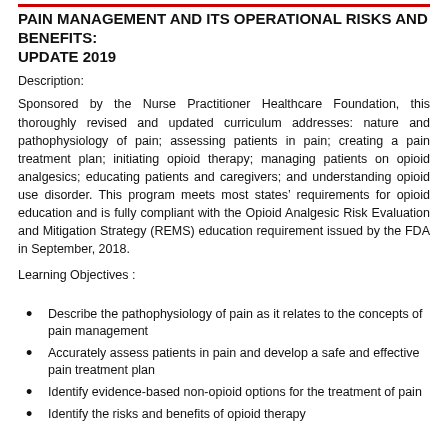PAIN MANAGEMENT AND ITS OPERATIONAL RISKS AND BENEFITS:
UPDATE 2019
Description:
Sponsored by the Nurse Practitioner Healthcare Foundation, this thoroughly revised and updated curriculum addresses: nature and pathophysiology of pain; assessing patients in pain; creating a pain treatment plan; initiating opioid therapy; managing patients on opioid analgesics; educating patients and caregivers; and understanding opioid use disorder. This program meets most states' requirements for opioid education and is fully compliant with the Opioid Analgesic Risk Evaluation and Mitigation Strategy (REMS) education requirement issued by the FDA in September, 2018.
Learning Objectives :
Describe the pathophysiology of pain as it relates to the concepts of pain management
Accurately assess patients in pain and develop a safe and effective pain treatment plan
Identify evidence-based non-opioid options for the treatment of pain
Identify the risks and benefits of opioid therapy